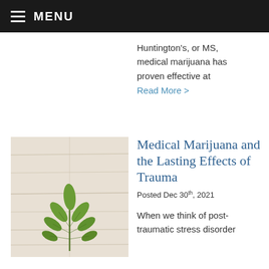MENU
Huntington's, or MS, medical marijuana has proven effective at
Read More >
[Figure (photo): A green cannabis leaf placed on a light wooden textured background]
Medical Marijuana and the Lasting Effects of Trauma
Posted Dec 30th, 2021
When we think of post-traumatic stress disorder